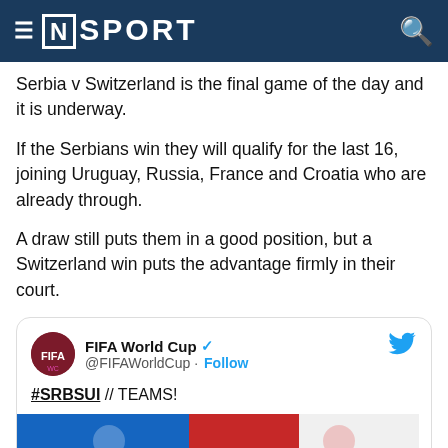≡ [N] SPORT
Serbia v Switzerland is the final game of the day and it is underway.
If the Serbians win they will qualify for the last 16, joining Uruguay, Russia, France and Croatia who are already through.
A draw still puts them in a good position, but a Switzerland win puts the advantage firmly in their court.
[Figure (screenshot): Embedded tweet from @FIFAWorldCup with verified badge, showing '#SRBSUI // TEAMS!' text and a partial team lineup image with blue and red colors]